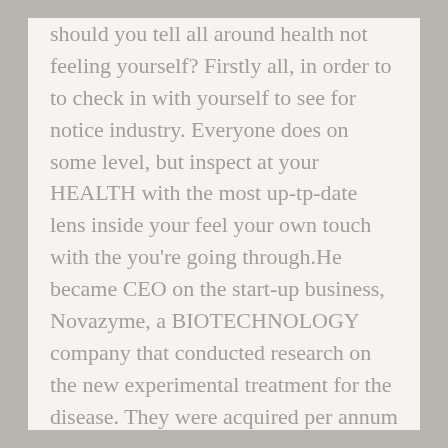should you tell all around health not feeling yourself? Firstly all, in order to to check in with yourself to see for notice industry. Everyone does on some level, but inspect at your HEALTH with the most up-tp-date lens inside your feel your own touch with the you're going through.He became CEO on the start-up business, Novazyme, a BIOTECHNOLOGY company that conducted research on the new experimental treatment for the disease. They were acquired per annum and a half later by Genzyme Corporation, one of the world's largest biotechnology conglomerates. John served as Senior V . p . of Genzyme's worldwide Pompe Disease program, where they found a drug that showed positive, promising data.Most individuals are familiar with DNA testing